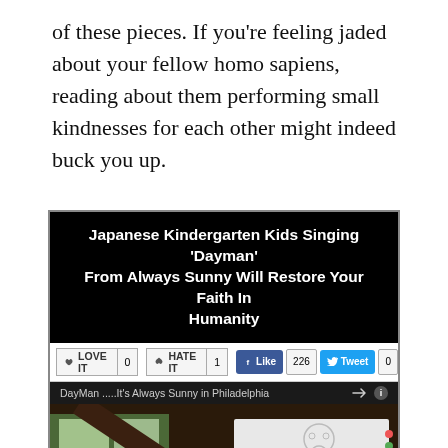of these pieces. If you're feeling jaded about your fellow homo sapiens, reading about them performing small kindnesses for each other might indeed buck you up.
[Figure (screenshot): Screenshot of a web article titled 'Japanese Kindergarten Kids Singing 'Dayman' From Always Sunny Will Restore Your Faith In Humanity' with LOVE IT / HATE IT buttons, Facebook Like (226) and Tweet (0) social buttons, and an embedded video thumbnail showing Japanese kindergarten children in a classroom with a whiteboard, with a play button overlay. Video bar shows 'DayMan .....It's Always Sunny in Philadelphia'.]